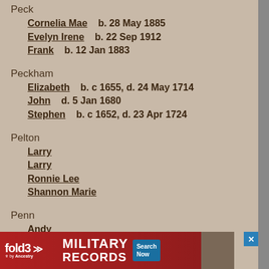Peck
Cornelia Mae    b. 28 May 1885
Evelyn Irene    b. 22 Sep 1912
Frank    b. 12 Jan 1883
Peckham
Elizabeth    b. c 1655, d. 24 May 1714
John    d. 5 Jan 1680
Stephen    b. c 1652, d. 23 Apr 1724
Pelton
Larry
Larry
Ronnie Lee
Shannon Marie
Penn
Andy
Perin
Dale